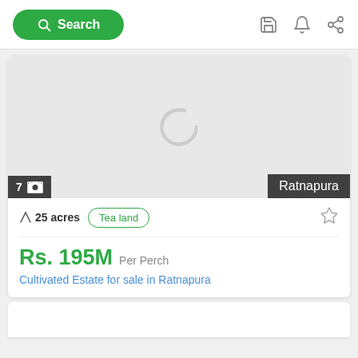Search
[Figure (screenshot): Loading spinner (gray arc) on light gray background for property image placeholder]
7 [image icon]  Ratnapura
25 acres  Tea land
Rs. 195M Per Perch
Cultivated Estate for sale in Ratnapura